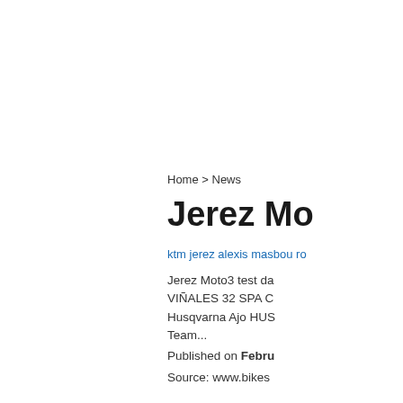Home > News
Jerez Mo
ktm jerez alexis masbou ro
Jerez Moto3 test da VIÑALES 32 SPA C Husqvarna Ajo HUS Team...
Published on Febru Source: www.bikes